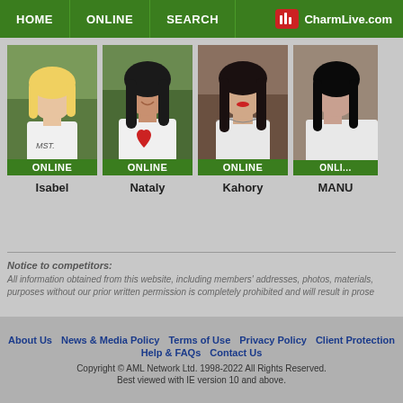HOME | ONLINE | SEARCH | CharmLive.com
[Figure (photo): Profile photo of Isabel - blonde woman in white shirt, ONLINE badge]
Isabel
[Figure (photo): Profile photo of Nataly - dark-haired woman in white shirt with red heart, ONLINE badge]
Nataly
[Figure (photo): Profile photo of Kahory - dark-haired woman in white top, ONLINE badge]
Kahory
[Figure (photo): Profile photo of MANU - partially visible, ONLINE badge]
MANU
Notice to competitors:
All information obtained from this website, including members' addresses, photos, materials, purposes without our prior written permission is completely prohibited and will result in prose
About Us | News & Media Policy | Terms of Use | Privacy Policy | Client Protection | Help & FAQs | Contact Us
Copyright © AML Network Ltd. 1998-2022 All Rights Reserved.
Best viewed with IE version 10 and above.